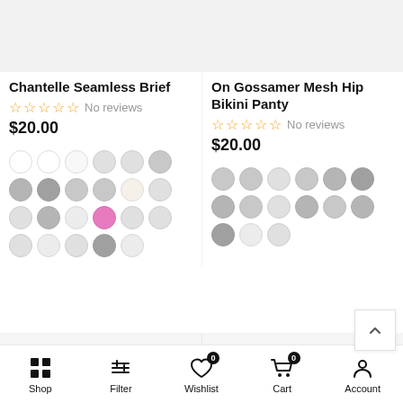[Figure (screenshot): Product image placeholder for Chantelle Seamless Brief]
[Figure (screenshot): Product image placeholder for On Gossamer Mesh Hip Bikini Panty]
Chantelle Seamless Brief
No reviews
$20.00
On Gossamer Mesh Hip Bikini Panty
No reviews
$20.00
Shop  Filter  Wishlist 0  Cart 0  Account